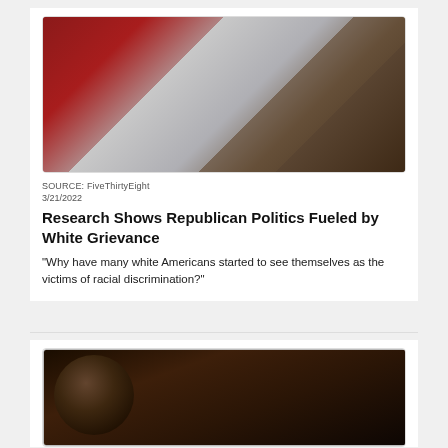[Figure (photo): Man carrying Confederate flag inside what appears to be the U.S. Capitol building, with a portrait painting on the wall in the background.]
SOURCE: FiveThirtyEight
3/21/2022
Research Shows Republican Politics Fueled by White Grievance
"Why have many white Americans started to see themselves as the victims of racial discrimination?"
[Figure (photo): Close-up portrait of an elderly Black person with gray hair, photographed in low light.]